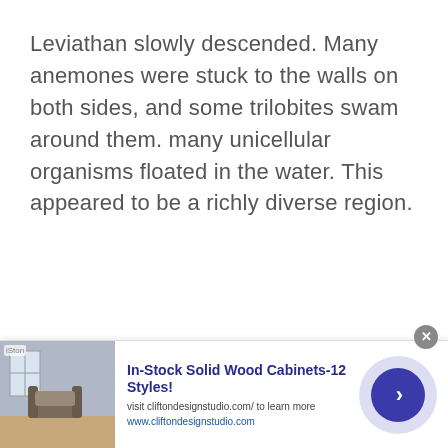Leviathan slowly descended. Many anemones were stuck to the walls on both sides, and some trilobites swam around them. many unicellular organisms floated in the water. This appeared to be a richly diverse region.
[Figure (infographic): Advertisement banner for In-Stock Solid Wood Cabinets. Contains a furniture photo on the left, bold blue headline text, a website URL, and a circular blue arrow button on the right.]